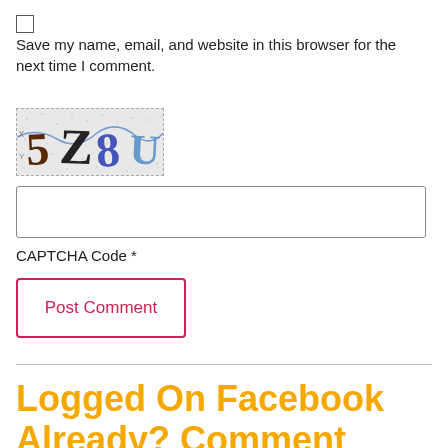Save my name, email, and website in this browser for the next time I comment.
[Figure (other): CAPTCHA image showing characters: 5 Z 8 U on a dotted/noisy background]
CAPTCHA Code *
Post Comment
Logged On Facebook Already? Comment Below